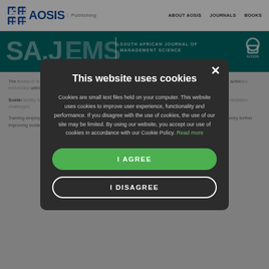AOSIS Publishing | ABOUT AOSIS | JOURNALS | BOOKS
[Figure (screenshot): AOSIS Publishing logo with grid icon and 'Publishing' text beside AOSIS wordmark]
SA.JEMS | SOUTH AFRICAN JOURNAL OF MANAGEMENT SCIENCE
The r... motiv... availa... activi... withi... suppo... is
Susta... l barri... susta... empl... imple...
Training employees in sustainability empowers and supports them to react better to sustainability concerns, thereby further improving sustainability performance (Wolf 2011:231). The findings indicate that in most
This website uses cookies
Cookies are small text files held on your computer. This website uses cookies to improve user experience, functionality and performance. If you disagree with the use of cookies, the use of our site may be limited. By using our website, you accept our use of cookies in accordance with our Cookie Policy. Read more
I AGREE
I DISAGREE